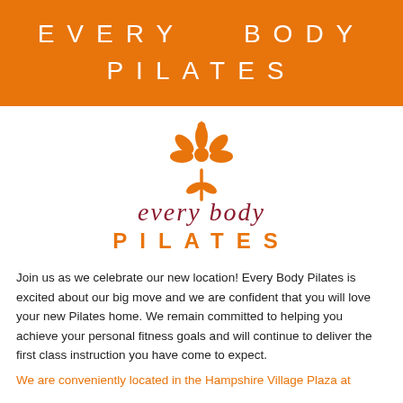EVERY BODY PILATES
[Figure (logo): Every Body Pilates logo — orange fleur-de-lis style flower icon above cursive 'every body' in dark red and 'PILATES' in orange spaced capitals]
Join us as we celebrate our new location! Every Body Pilates is excited about our big move and we are confident that you will love your new Pilates home. We remain committed to helping you achieve your personal fitness goals and will continue to deliver the first class instruction you have come to expect.
We are conveniently located in the Hampshire Village Plaza at